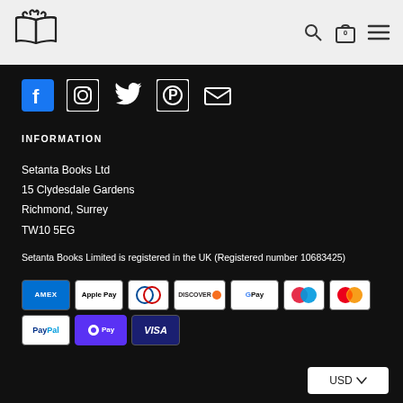Setanta Books logo, search icon, bag icon (0), menu icon
[Figure (logo): Setanta Books open book logo in black outline]
[Figure (infographic): Social media icons: Facebook, Instagram, Twitter, Pinterest, Email]
INFORMATION
Setanta Books Ltd
15 Clydesdale Gardens
Richmond, Surrey
TW10 5EG
Setanta Books Limited is registered in the UK (Registered number 10683425)
[Figure (infographic): Payment method badges: American Express, Apple Pay, Diners Club, Discover, Google Pay, Maestro, Mastercard, PayPal, Shop Pay, Visa]
USD